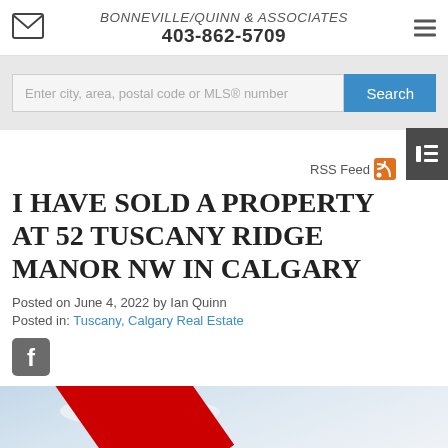BONNEVILLE/QUINN & ASSOCIATES 403-862-5709
[Figure (screenshot): Search bar with text input 'Enter city, area, postal code or MLS® number' and blue Search button]
I have sold a property at 52 Tuscany Ridge MANOR NW in Calgary
Posted on June 4, 2022 by Ian Quinn
Posted in: Tuscany, Calgary Real Estate
[Figure (photo): Partial view of a property photo showing sky and a red diagonal stripe/sold banner]